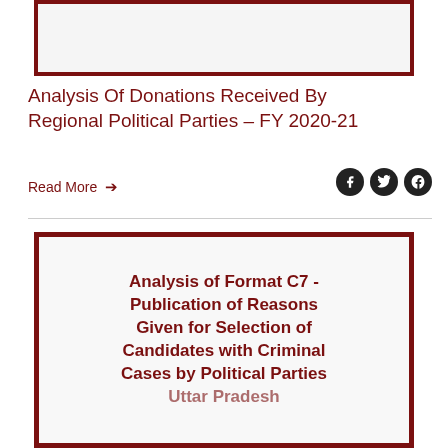[Figure (other): Top framed image placeholder with dark red border]
Analysis Of Donations Received By Regional Political Parties – FY 2020-21
Read More →
[Figure (other): Framed image with text: Analysis of Format C7 - Publication of Reasons Given for Selection of Candidates with Criminal Cases by Political Parties Uttar Pradesh]